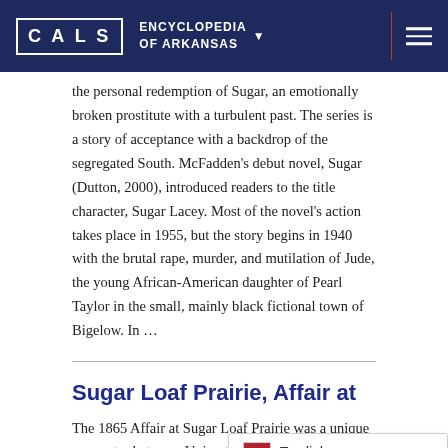CALS ENCYCLOPEDIA OF ARKANSAS
the personal redemption of Sugar, an emotionally broken prostitute with a turbulent past. The series is a story of acceptance with a backdrop of the segregated South. McFadden's debut novel, Sugar (Dutton, 2000), introduced readers to the title character, Sugar Lacey. Most of the novel's action takes place in 1955, but the story begins in 1940 with the brutal rape, murder, and mutilation of Jude, the young African-American daughter of Pearl Taylor in the small, mainly black fictional town of Bigelow. In ...
Sugar Loaf Prairie, Affair at
The 1865 Affair at Sugar Loaf Prairie was a unique encounter between Union tro... extreme northern Arkansas in...